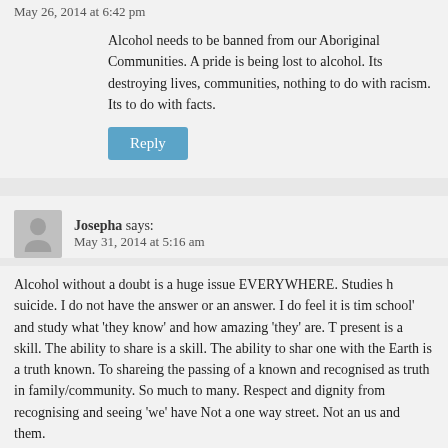May 26, 2014 at 6:42 pm
Alcohol needs to be banned from our Aboriginal Communities. A pride is being lost to alcohol. Its destroying lives, communities, nothing to do with racism. Its to do with facts.
Reply
Josepha says:
May 31, 2014 at 5:16 am
Alcohol without a doubt is a huge issue EVERYWHERE. Studies h suicide. I do not have the answer or an answer. I do feel it is tim school' and study what 'they know' and how amazing 'they' are. T present is a skill. The ability to share is a skill. The ability to sha one with the Earth is a truth known. To shareing the passing of a known and recognised as truth in family/community. So much to many. Respect and dignity from recognising and seeing 'we' have Not a one way street. Not an us and them.
Reply